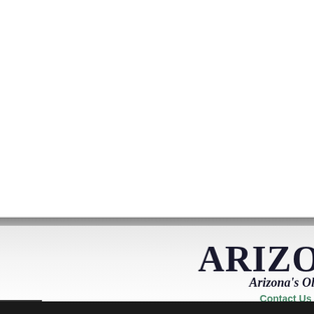ARIZONA
Arizona's Oldest
Contact Us |